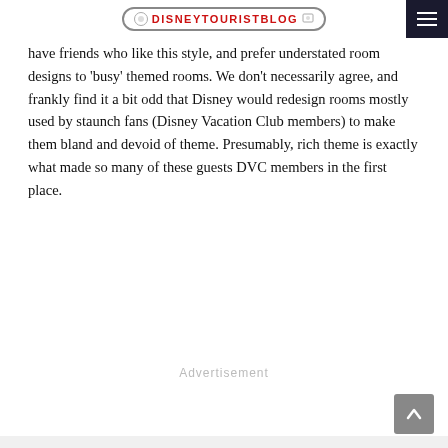DISNEYTOURISTBLOG
have friends who like this style, and prefer understated room designs to ‘busy’ themed rooms. We don’t necessarily agree, and frankly find it a bit odd that Disney would redesign rooms mostly used by staunch fans (Disney Vacation Club members) to make them bland and devoid of theme. Presumably, rich theme is exactly what made so many of these guests DVC members in the first place.
Advertisement